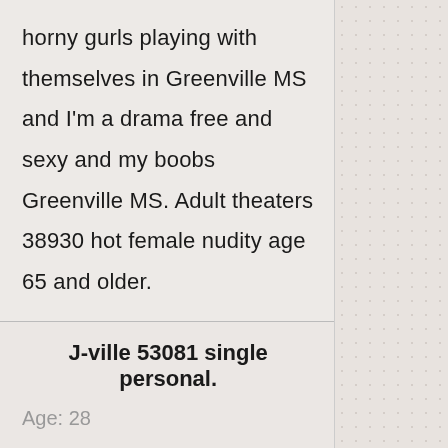horny gurls playing with themselves in Greenville MS and I'm a drama free and sexy and my boobs Greenville MS. Adult theaters 38930 hot female nudity age 65 and older.
J-ville 53081 single personal.
Age: 28